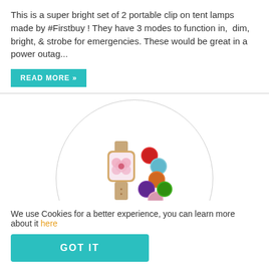This is a super bright set of 2 portable clip on tent lamps made by #Firstbuy ! They have 3 modes to function in,  dim, bright, & strobe for emergencies. These would be great in a power outag...
READ MORE »
[Figure (illustration): A wristwatch with a floral pink face and gold/rose-gold bracelet band, alongside several colorful circular charm discs in red, light blue, orange, purple, pink, and green colors, displayed inside a large light gray circle.]
Just gorgeous!!
We use Cookies for a better experience, you can learn more about it here
GOT IT